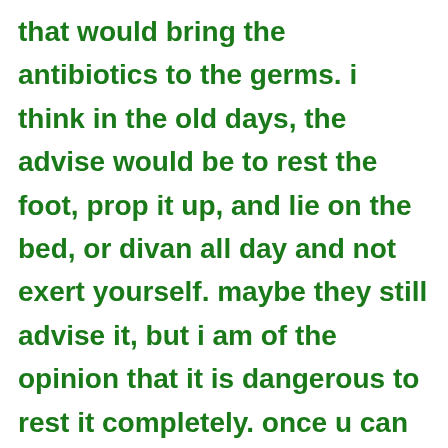that would bring the antibiotics to the germs. i think in the old days, the advise would be to rest the foot, prop it up, and lie on the bed, or divan all day and not exert yourself. maybe they still advise it, but i am of the opinion that it is dangerous to rest it completely. once u can move it without too much pain, u should do so and increase the activity as it gets better.